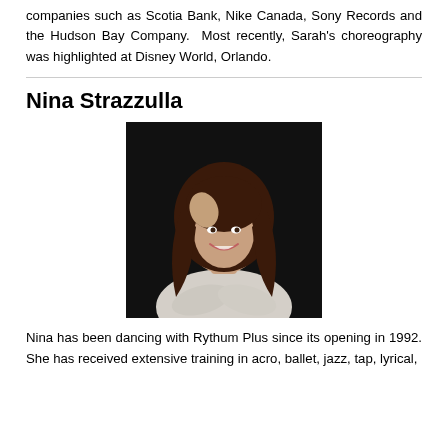companies such as Scotia Bank, Nike Canada, Sony Records and the Hudson Bay Company. Most recently, Sarah's choreography was highlighted at Disney World, Orlando.
[Figure (photo): Portrait photo of Nina Strazzulla, a young woman with long curly dark hair wearing a white knit sweater, smiling, posed against a dark background]
Nina Strazzulla
Nina has been dancing with Rythum Plus since its opening in 1992. She has received extensive training in acro, ballet, jazz, tap, lyrical,